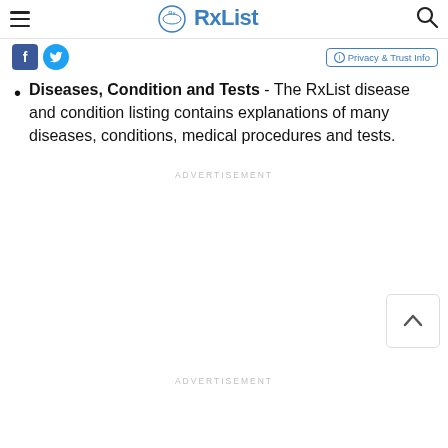RxList
Diseases, Condition and Tests - The RxList disease and condition listing contains explanations of many diseases, conditions, medical procedures and tests.
ADVERTISEMENT
ADVERTISEMENT